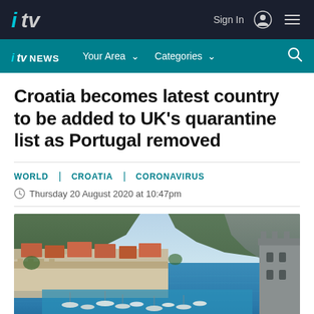ITV News - Sign In | Menu
ITV NEWS | Your Area | Categories | Search
Croatia becomes latest country to be added to UK's quarantine list as Portugal removed
WORLD | CROATIA | CORONAVIRUS
Thursday 20 August 2020 at 10:47pm
[Figure (photo): Aerial view of Dubrovnik harbour, Croatia, showing the old town, fortress walls, marina with boats, and turquoise Adriatic Sea with dramatic coastal cliffs in the background.]